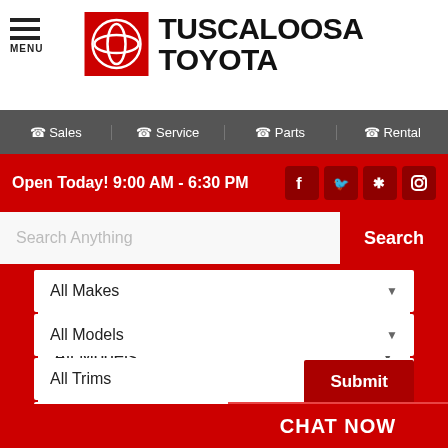[Figure (logo): Tuscaloosa Toyota dealership header with Toyota emblem (red square with white circular logo) and bold text TUSCALOOSA TOYOTA, plus hamburger menu icon with MENU label]
☎ Sales   ☎ Service   ☎ Parts   ☎ Rental
Open Today! 9:00 AM - 6:30 PM
Search Anything
All Makes
All Models
All Trims
All Body Styles
Submit
CHAT NOW